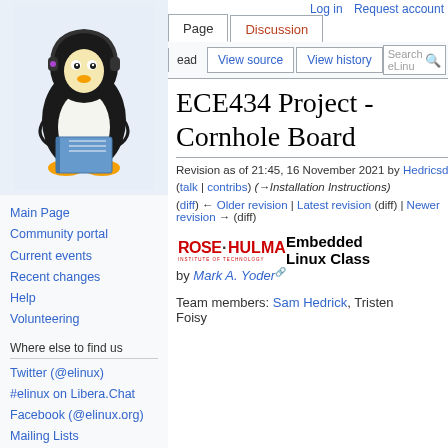Log in   Request account
[Figure (illustration): Linux Tux penguin mascot with headphones holding a book, on light blue background]
Main Page
Community portal
Current events
Recent changes
Help
Volunteering
Where else to find us
Twitter (@elinux)
#elinux on Libera.Chat
Facebook (@elinux.org)
Mailing Lists
Matrix
ECE434 Project - Cornhole Board
Revision as of 21:45, 16 November 2021 by Hedricsd (talk | contribs) (→Installation Instructions)
(diff) ← Older revision | Latest revision (diff) | Newer revision → (diff)
[Figure (logo): Rose-Hulman Institute of Technology logo followed by text: Embedded Linux Class by Mark A. Yoder]
Team members: Sam Hedrick, Tristen Foisy